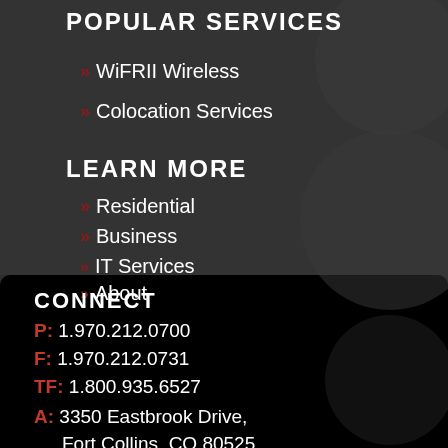POPULAR SERVICES
WiFRII Wireless
Colocation Services
LEARN MORE
Residential
Business
IT Services
About
CONNECT
P: 1.970.212.0700
F: 1.970.212.0731
TF: 1.800.935.6527
A: 3350 Eastbrook Drive, Fort Collins, CO 80525